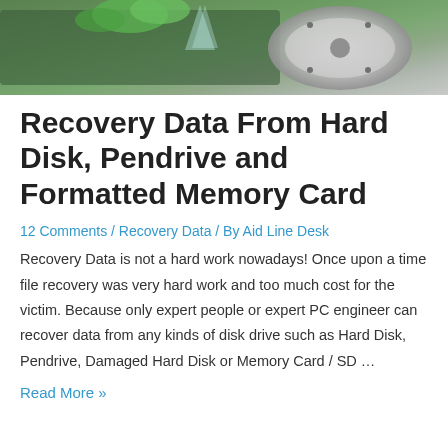[Figure (photo): Photo of a hard disk drive with green plant leaves and metallic disk platter visible, suggesting data recovery theme]
Recovery Data From Hard Disk, Pendrive and Formatted Memory Card
12 Comments / Recovery Data / By Aid Line Desk
Recovery Data is not a hard work nowadays! Once upon a time file recovery was very hard work and too much cost for the victim. Because only expert people or expert PC engineer can recover data from any kinds of disk drive such as Hard Disk, Pendrive, Damaged Hard Disk or Memory Card / SD …
Read More »